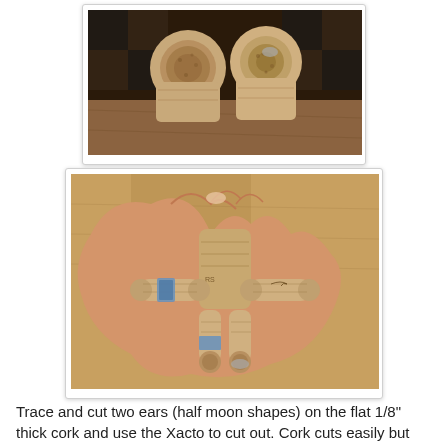[Figure (photo): Close-up photo of two wine corks held side by side, showing their flat circular ends facing the camera, on a wooden surface with black and white checkered pattern visible in background.]
[Figure (photo): Photo of a hand holding an assembled cork figure resembling a robot or person, made from multiple wine corks arranged as body parts (head, torso, arms, legs), on a brown cardboard background.]
Trace and cut two ears (half moon shapes) on the flat 1/8" thick cork and use the Xacto to cut out. Cork cuts easily but